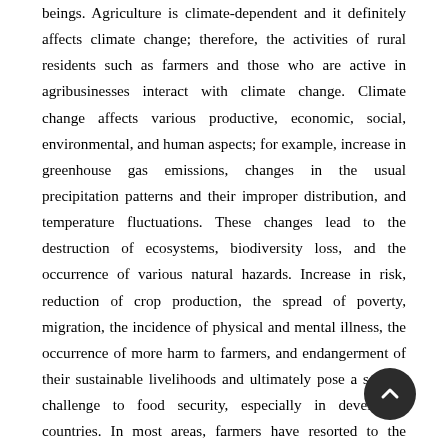beings. Agriculture is climate-dependent and it definitely affects climate change; therefore, the activities of rural residents such as farmers and those who are active in agribusinesses interact with climate change. Climate change affects various productive, economic, social, environmental, and human aspects; for example, increase in greenhouse gas emissions, changes in the usual precipitation patterns and their improper distribution, and temperature fluctuations. These changes lead to the destruction of ecosystems, biodiversity loss, and the occurrence of various natural hazards. Increase in risk, reduction of crop production, the spread of poverty, migration, the incidence of physical and mental illness, the occurrence of more harm to farmers, and endangerment of their sustainable livelihoods and ultimately pose a serious challenge to food security, especially in developing countries. In most areas, farmers have resorted to the conventional agricultural model which applies more pressure on soil and water and increase the consumption of